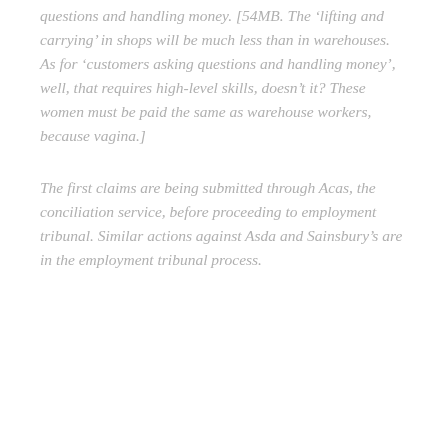questions and handling money. [54MB. The 'lifting and carrying' in shops will be much less than in warehouses. As for 'customers asking questions and handling money', well, that requires high-level skills, doesn't it? These women must be paid the same as warehouse workers, because vagina.]
The first claims are being submitted through Acas, the conciliation service, before proceeding to employment tribunal. Similar actions against Asda and Sainsbury's are in the employment tribunal process.